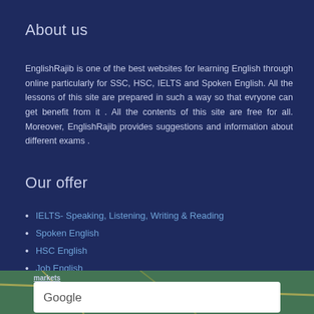About us
EnglishRajib is one of the best websites for learning English through online particularly for SSC, HSC, IELTS and Spoken English. All the lessons of this site are prepared in such a way so that evryone can get benefit from it . All the contents of this site are free for all. Moreover, EnglishRajib provides suggestions and information about different exams .
Our offer
IELTS- Speaking, Listening, Writing & Reading
Spoken English
HSC English
Job English
[Figure (screenshot): Bottom portion showing a Google search bar over a map background with text 'markets' partially visible]